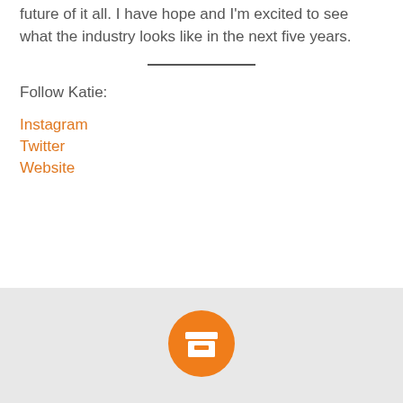future of it all. I have hope and I'm excited to see what the industry looks like in the next five years.
Follow Katie:
Instagram
Twitter
Website
[Figure (logo): Orange circle with white archive/box icon in the center, shown in a light gray footer area]